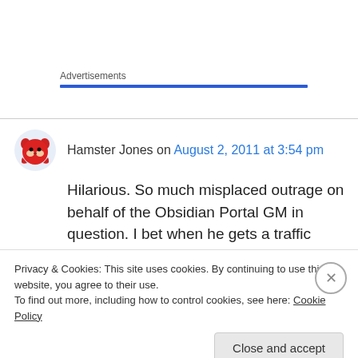Advertisements
Hamster Jones on August 2, 2011 at 3:54 pm
Hilarious. So much misplaced outrage on behalf of the Obsidian Portal GM in question. I bet when he gets a traffic ticket he cries fowl that “The sun was in my eyes! Why else would I have
Privacy & Cookies: This site uses cookies. By continuing to use this website, you agree to their use.
To find out more, including how to control cookies, see here: Cookie Policy
Close and accept